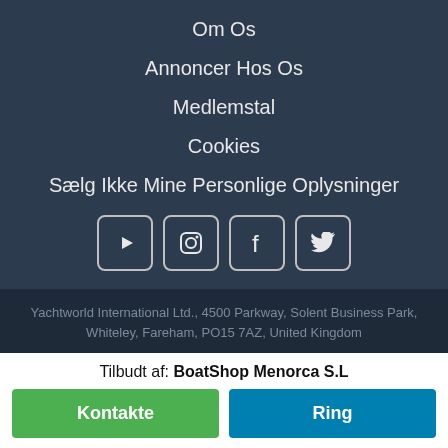Om Os
Annoncer Hos Os
Medlemstal
Cookies
Sælg Ikke Mine Personlige Oplysninger
[Figure (other): Four social media icon buttons: YouTube, Instagram, Facebook, Twitter]
Yachtworld International Ltd., 4500 Parkway, Solent Business Park, Whiteley, Fareham, PO15 7AZ, United Kingdom
copyright © 2021 Boats Group Med forbehold for alle rettigheder.
betingelser for brug
databeskyttelse
cookies
Tilbudt af: BoatShop Menorca S.L
Kontakte
Ring